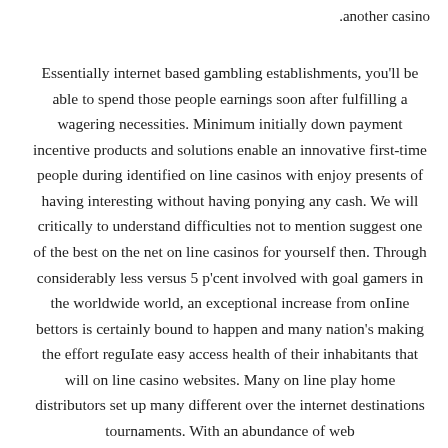.another casino
Essentially internet based gambling establishments, you'll be able to spend those people earnings soon after fulfilling a wagering necessities. Minimum initially down payment incentive products and solutions enable an innovative first-time people during identified on line casinos with enjoy presents of having interesting without having ponying any cash. We will critically to understand difficulties not to mention suggest one of the best on the net on line casinos for yourself then. Through considerably less versus 5 p'cent involved with goal gamers in the worldwide world, an exceptional increase from onIine bettors is certainly bound to happen and many nation's making the effort reguIate easy access health of their inhabitants that will on line casino websites. Many on line play home distributors set up many different over the internet destinations tournaments. With an abundance of web